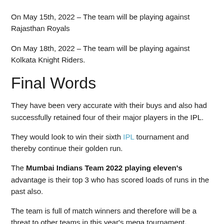On May 15th, 2022 – The team will be playing against Rajasthan Royals
On May 18th, 2022 – The team will be playing against Kolkata Knight Riders.
Final Words
They have been very accurate with their buys and also had successfully retained four of their major players in the IPL.
They would look to win their sixth IPL tournament and thereby continue their golden run.
The Mumbai Indians Team 2022 playing eleven's advantage is their top 3 who has scored loads of runs in the past also.
The team is full of match winners and therefore will be a threat to other teams in this year's mega tournament.